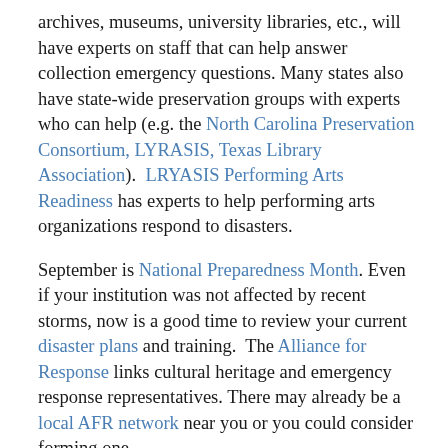archives, museums, university libraries, etc., will have experts on staff that can help answer collection emergency questions. Many states also have state-wide preservation groups with experts who can help (e.g. the North Carolina Preservation Consortium, LYRASIS, Texas Library Association).  LRYASIS Performing Arts Readiness has experts to help performing arts organizations respond to disasters.
September is National Preparedness Month. Even if your institution was not affected by recent storms, now is a good time to review your current disaster plans and training.  The Alliance for Response links cultural heritage and emergency response representatives. There may already be a local AFR network near you or you could consider forming one.